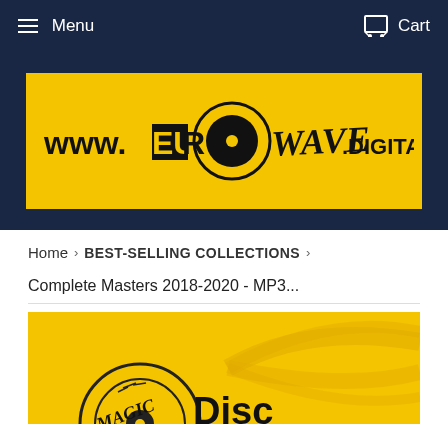Menu   Cart
[Figure (logo): www.EUROWAVE.DIGITAL logo on yellow background — stylized text with vinyl record graphic in center]
Home  >  BEST-SELLING COLLECTIONS  >
Complete Masters 2018-2020 - MP3...
[Figure (illustration): Disc Magic logo on golden/yellow background with swirl lines — partial view of disc with 'DISC MAGIC' text]